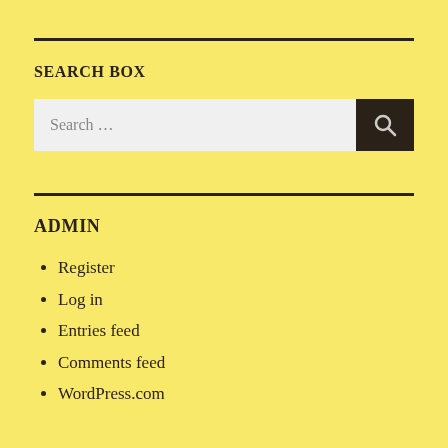SEARCH BOX
[Figure (screenshot): Search input box with placeholder text 'Search …' and a dark search button with magnifying glass icon]
ADMIN
Register
Log in
Entries feed
Comments feed
WordPress.com